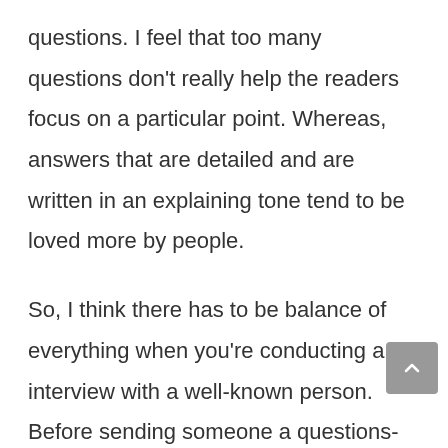questions. I feel that too many questions don't really help the readers focus on a particular point. Whereas,  answers that are detailed and are written in an explaining tone tend to be loved more by people.
So, I think there has to be balance of everything when you're conducting an interview with a well-known person. Before sending someone a questions-sheet (like in exams!) via email in advance, or in a video interview, asking random questions irrelevant